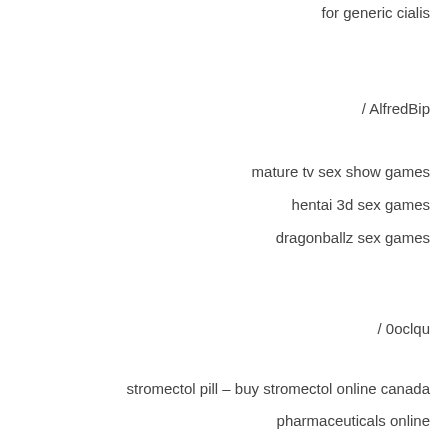for generic cialis
/ AlfredBip
mature tv sex show games
hentai 3d sex games
dragonballz sex games
/ 0oclqu
stromectol pill – buy stromectol online canada
pharmaceuticals online